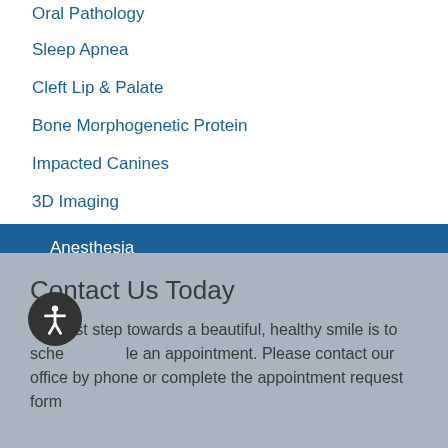Oral Pathology
Sleep Apnea
Cleft Lip & Palate
Bone Morphogenetic Protein
Impacted Canines
3D Imaging
Anesthesia
Contact Us Today
The first step towards a beautiful, healthy smile is to schedule an appointment. Please contact our office by phone or complete the appointment request form below.